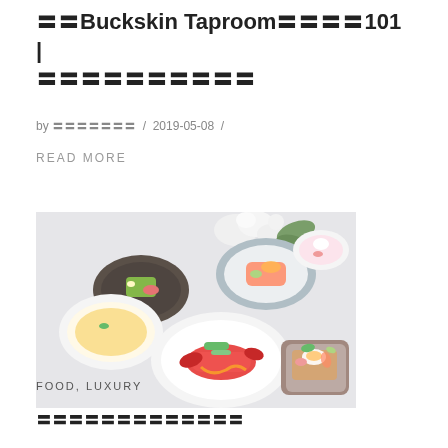〓〓Buckskin Taproom〓〓〓〓101 | 〓〓〓〓〓〓〓〓〓〓
by 〓〓〓〓〓〓〓 / 2019-05-08 /
READ MORE
[Figure (photo): Flat lay of multiple elegant white plates and bowls of fine dining food including lobster, soup, desserts, and appetizers arranged on a light background with white flowers]
FOOD, LUXURY
〓〓〓〓〓〓〓〓〓〓〓〓〓